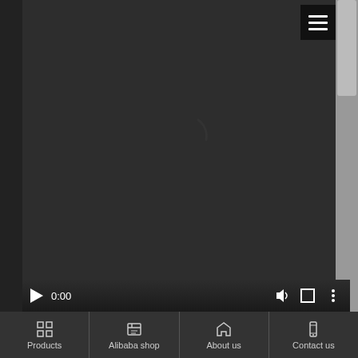[Figure (screenshot): Mobile web page showing a dark video player with a loading spinner (partial arc) in the center, video controls bar at bottom showing play button and 0:00 timestamp with volume, fullscreen, and more options icons. A hamburger menu button is in the top right corner. A scrollbar is on the far right.]
Products | Alibaba shop | About us | Contact us